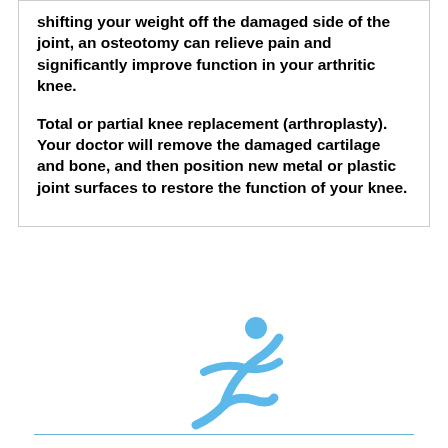shifting your weight off the damaged side of the joint, an osteotomy can relieve pain and significantly improve function in your arthritic knee.
Total or partial knee replacement (arthroplasty). Your doctor will remove the damaged cartilage and bone, and then position new metal or plastic joint surfaces to restore the function of your knee.
[Figure (logo): Blue stylized running figure logo above a horizontal blue line]